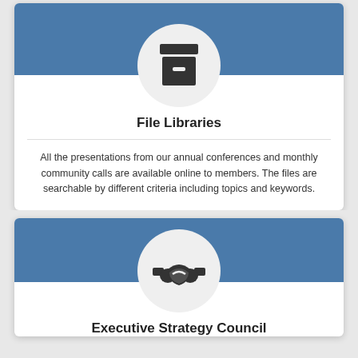[Figure (illustration): Archive/file box icon inside a white semicircle on a blue header background]
File Libraries
All the presentations from our annual conferences and monthly community calls are available online to members.  The files are searchable by different criteria including topics and keywords.
[Figure (illustration): Handshake icon inside a white circle on a blue header background]
Executive Strategy Council